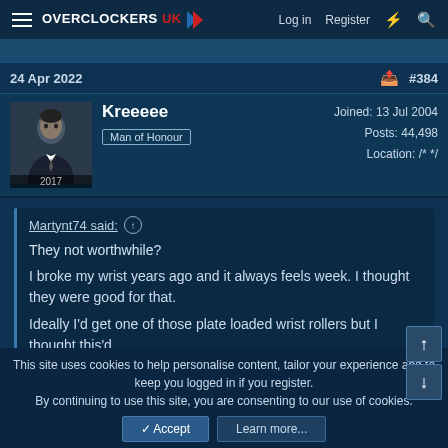OVERCLOCKERS UK  Log in  Register
24 Apr 2022  #384
Kreeeee
Man of Honour
Joined: 13 Jul 2004
Posts: 44,498
Location: /* */
Martynt74 said:
They not worthwhile?
I broke my wrist years ago and it always feels week. I thought they were good for that.
Ideally I'd get one of those plate loaded wrist rollers but I thought this'd
This site uses cookies to help personalise content, tailor your experience and to keep you logged in if you register.
By continuing to use this site, you are consenting to our use of cookies.